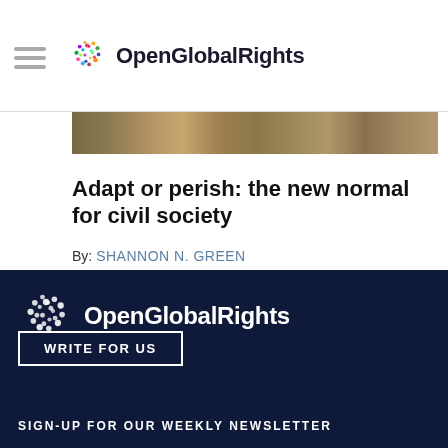OpenGlobalRights
[Figure (photo): Partial view of a crowd or nature scene, cropped image strip]
Adapt or perish: the new normal for civil society
By: SHANNON N. GREEN
Español
[Figure (logo): OpenGlobalRights white logo on dark navy background]
WRITE FOR US
SIGN-UP FOR OUR WEEKLY NEWSLETTER